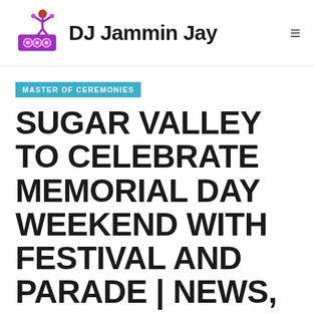DJ Jammin Jay
MASTER OF CEREMONIES
SUGAR VALLEY TO CELEBRATE MEMORIAL DAY WEEKEND WITH FESTIVAL AND PARADE | NEWS, SPORTS, JOBS